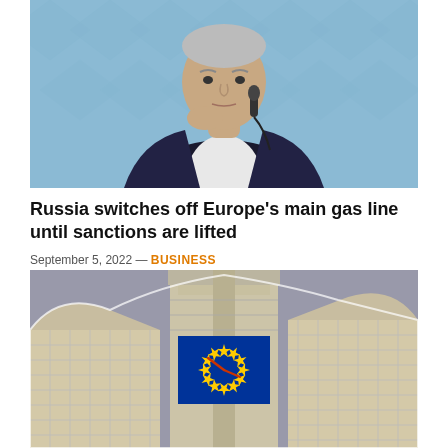[Figure (photo): A man in a dark suit sitting at a microphone, hand on chin, against a blue geometric patterned background.]
Russia switches off Europe's main gas line until sanctions are lifted
September 5, 2022 — BUSINESS
[Figure (illustration): Illustration of the European Commission Berlaymont building with the EU flag featuring a circle of yellow stars on a blue background displayed prominently, clock hands visible.]